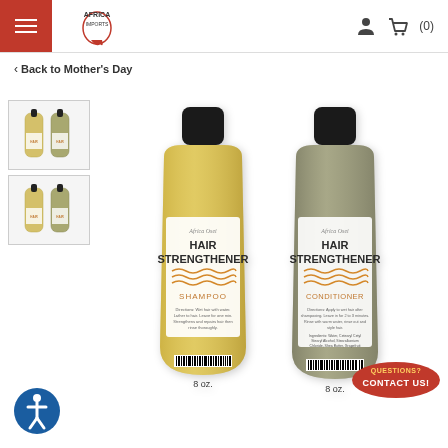Africa Imports - navigation header with hamburger menu, logo, user icon, cart (0)
< Back to Mother's Day
[Figure (photo): Two thumbnail images of Hair Strengthener Shampoo and Conditioner bottles side by side, shown twice]
[Figure (photo): Two Hair Strengthener product bottles: a yellow-gold shampoo bottle (8 oz) on the left and a grey/olive conditioner bottle (8 oz) on the right, both with black caps and orange label details reading HAIR STRENGTHENER SHAMPOO and HAIR STRENGTHENER CONDITIONER]
[Figure (logo): Accessibility icon - blue circle with white person figure]
[Figure (other): Red oval Contact Us button with QUESTIONS text above CONTACT US!]